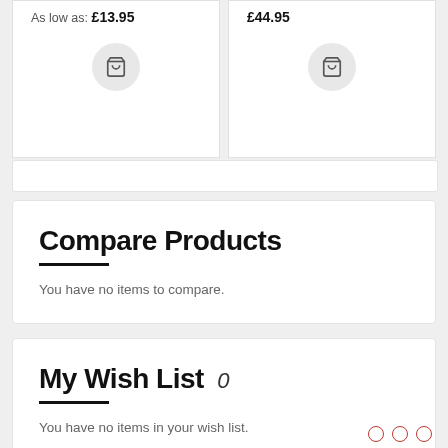As low as: £13.95
£44.95
Compare Products
You have no items to compare.
My Wish List 0
You have no items in your wish list.